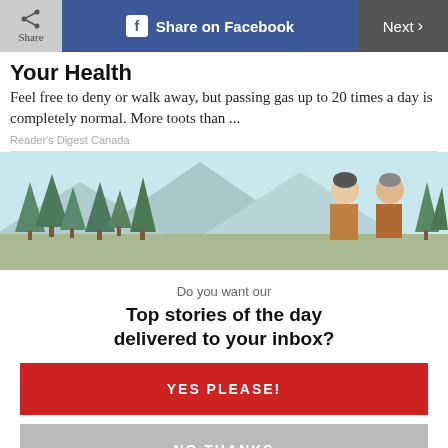Share | Share on Facebook | Next
Your Health
Feel free to deny or walk away, but passing gas up to 20 times a day is completely normal. More toots than ...
Reader's Digest Canada
[Figure (illustration): Illustrated scene with two people outdoors among pine trees and mountains in a retro comic style]
Do you want our
Top stories of the day delivered to your inbox?
YES PLEASE!
NO THANKS